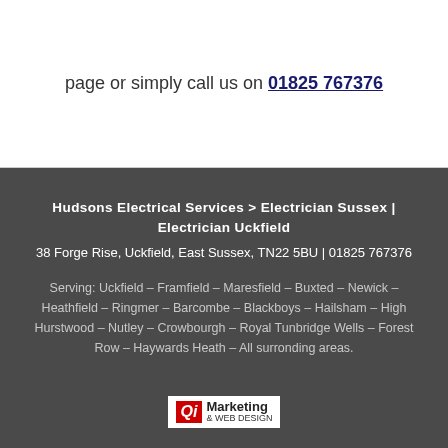page or simply call us on 01825 767376
Hudsons Electrical Services > Electrician Sussex | Electrician Uckfield
38 Forge Rise, Uckfield, East Sussex, TN22 5BU | 01825 767376
Serving: Uckfield – Framfield – Maresfield – Buxted – Newick – Heathfield – Ringmer – Barcombe – Blackboys – Hailsham – High Hurstwood – Nutley – Crowbourgh – Royal Tunbridge Wells – Forest Row – Haywards Heath – All surronding areas.
[Figure (logo): Qi Marketing & Web Design logo — red box with white italic Qi text, followed by 'Marketing' in bold and '& WEB DESIGN' in smaller text]